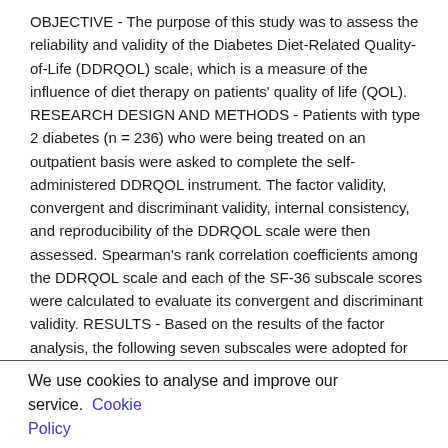OBJECTIVE - The purpose of this study was to assess the reliability and validity of the Diabetes Diet-Related Quality-of-Life (DDRQOL) scale, which is a measure of the influence of diet therapy on patients' quality of life (QOL). RESEARCH DESIGN AND METHODS - Patients with type 2 diabetes (n = 236) who were being treated on an outpatient basis were asked to complete the self-administered DDRQOL instrument. The factor validity, convergent and discriminant validity, internal consistency, and reproducibility of the DDRQOL scale were then assessed. Spearman's rank correlation coefficients among the DDRQOL scale and each of the SF-36 subscale scores were calculated to evaluate its convergent and discriminant validity. RESULTS - Based on the results of the factor analysis, the following seven subscales were adopted for the DDRQOL: "satisfaction with diet," "burden of diet therapy," "perceived merits of diet therapy," "general perception of diet," "restriction of social functions," "vitality," and "mental health." As hypothesized, the DDRQOL scale was associated with each of
We use cookies to analyse and improve our service. Cookie Policy